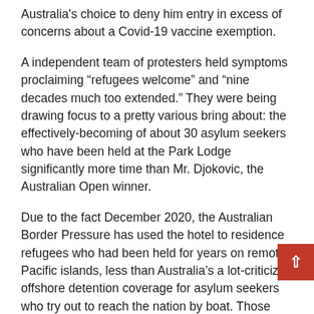Australia's choice to deny him entry in excess of concerns about a Covid-19 vaccine exemption.
A independent team of protesters held symptoms proclaiming “refugees welcome” and “nine decades much too extended.” They were being drawing focus to a pretty various bring about: the effectively-becoming of about 30 asylum seekers who have been held at the Park Lodge significantly more time than Mr. Djokovic, the Australian Open winner.
Due to the fact December 2020, the Australian Border Pressure has used the hotel to residence refugees who had been held for years on remote Pacific islands, less than Australia’s a lot-criticized offshore detention coverage for asylum seekers who try out to reach the nation by boat. Those people at the Park Resort were introduced to Australia for health care treatment method, but they can’t leave the lodge for any other reason, and they do not know how very long they will be retained there.
For activists, Mr. Djokovic’s detention at the exact resort